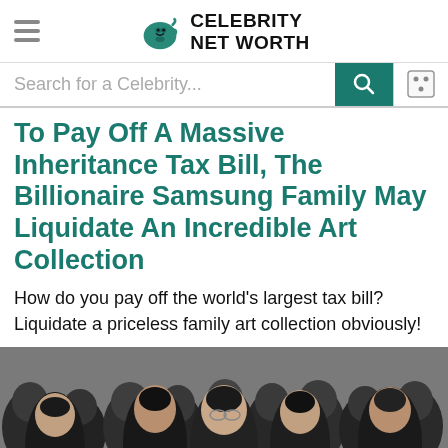Celebrity Net Worth
Search for a Celebrity...
To Pay Off A Massive Inheritance Tax Bill, The Billionaire Samsung Family May Liquidate An Incredible Art Collection
How do you pay off the world's largest tax bill? Liquidate a priceless family art collection obviously!
[Figure (photo): A crowd of men in dark suits and coats, appearing to be Korean businessmen or executives, photographed outdoors in a close group.]